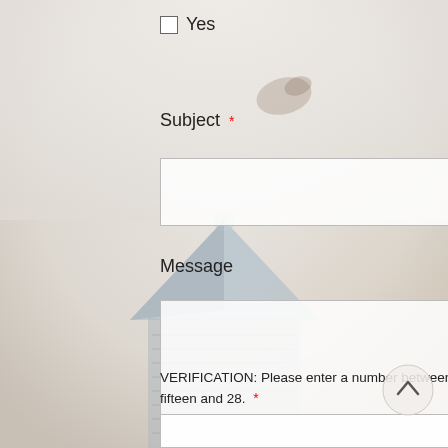Yes
Subject *
Message
VERIFICATION: Please enter a number between fifteen and 28. *
[Figure (photo): Background photo of a building cupola or tower with a pointed roof and flag, viewed in soft misty light]